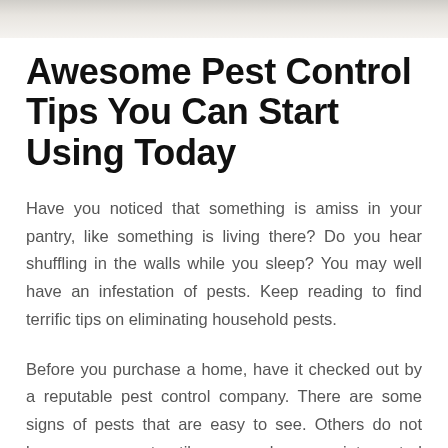Awesome Pest Control Tips You Can Start Using Today
Have you noticed that something is amiss in your pantry, like something is living there? Do you hear shuffling in the walls while you sleep? You may well have an infestation of pests. Keep reading to find terrific tips on eliminating household pests.
Before you purchase a home, have it checked out by a reputable pest control company. There are some signs of pests that are easy to see. Others do not become apparent until you spend some uninterrupted time at home.
Consider using a reputable pest control company...